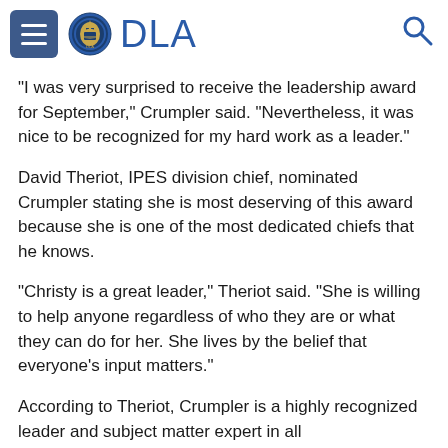DLA
"I was very surprised to receive the leadership award for September," Crumpler said. "Nevertheless, it was nice to be recognized for my hard work as a leader."
David Theriot, IPES division chief, nominated Crumpler stating she is most deserving of this award because she is one of the most dedicated chiefs that he knows.
"Christy is a great leader," Theriot said. "She is willing to help anyone regardless of who they are or what they can do for her. She lives by the belief that everyone's input matters."
According to Theriot, Crumpler is a highly recognized leader and subject matter expert in all